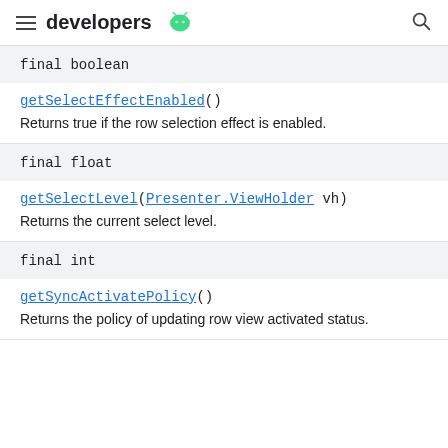developers
final boolean
getSelectEffectEnabled()
Returns true if the row selection effect is enabled.
final float
getSelectLevel(Presenter.ViewHolder vh)
Returns the current select level.
final int
getSyncActivatePolicy()
Returns the policy of updating row view activated status.